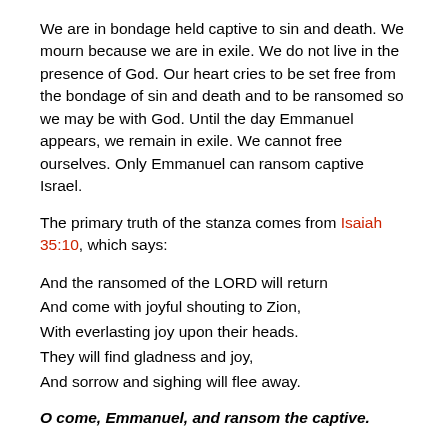We are in bondage held captive to sin and death. We mourn because we are in exile. We do not live in the presence of God. Our heart cries to be set free from the bondage of sin and death and to be ransomed so we may be with God. Until the day Emmanuel appears, we remain in exile. We cannot free ourselves. Only Emmanuel can ransom captive Israel.
The primary truth of the stanza comes from Isaiah 35:10, which says:
And the ransomed of the LORD will return
And come with joyful shouting to Zion,
With everlasting joy upon their heads.
They will find gladness and joy,
And sorrow and sighing will flee away.
O come, Emmanuel, and ransom the captive.
O Come, Emmanuel,